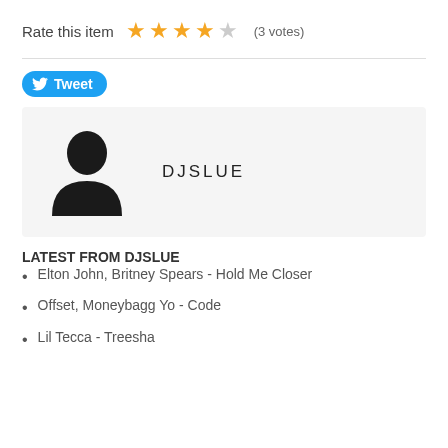Rate this item ★★★★☆ (3 votes)
[Figure (other): Twitter Tweet button with bird logo]
[Figure (other): User profile box with silhouette avatar icon and username DJSLUE]
LATEST FROM DJSLUE
Elton John, Britney Spears - Hold Me Closer
Offset, Moneybagg Yo - Code
Lil Tecca - Treesha